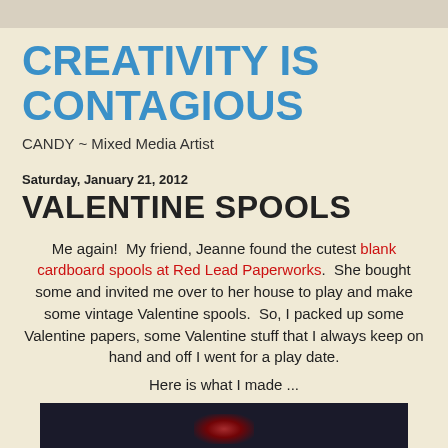CREATIVITY IS CONTAGIOUS
CANDY ~ Mixed Media Artist
Saturday, January 21, 2012
VALENTINE SPOOLS
Me again!  My friend, Jeanne found the cutest blank cardboard spools at Red Lead Paperworks.  She bought some and invited me over to her house to play and make some vintage Valentine spools.  So, I packed up some Valentine papers, some Valentine stuff that I always keep on hand and off I went for a play date.
Here is what I made ...
[Figure (photo): Dark photo of Valentine spools artwork, partially visible at bottom of page]